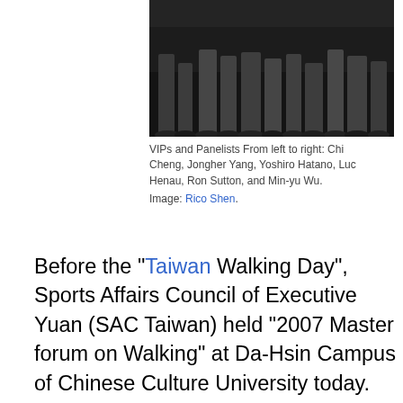[Figure (photo): Photo showing legs and feet of VIPs and panelists standing together, dark background]
VIPs and Panelists From left to right: Chi Cheng, Jongher Yang, Yoshiro Hatano, Luc Henau, Ron Sutton, and Min-yu Wu.
Image: Rico Shen.
Before the "Taiwan Walking Day", Sports Affairs Council of Executive Yuan (SAC Taiwan) held "2007 Master forum on Walking" at Da-Hsin Campus of Chinese Culture University today. This forum invited walking experts from Japan, Belgium, and USA to share experiences on promotion of walking. Chi Cheng, spokeswoman of Taiwan Walking Day, thanked SAC Taiwan for the promotion of public sports especially walking, and she appealed forum participants integrating sports into people's life to keep in healthy.